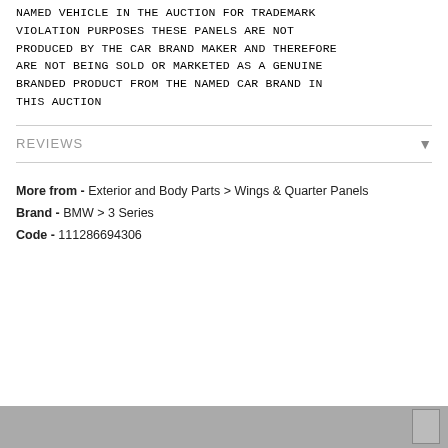NAMED VEHICLE IN THE AUCTION FOR TRADEMARK VIOLATION PURPOSES THESE PANELS ARE NOT PRODUCED BY THE CAR BRAND MAKER AND THEREFORE ARE NOT BEING SOLD OR MARKETED AS A GENUINE BRANDED PRODUCT FROM THE NAMED CAR BRAND IN THIS AUCTION
REVIEWS
More from - Exterior and Body Parts > Wings & Quarter Panels
Brand - BMW > 3 Series
Code - 111286694306